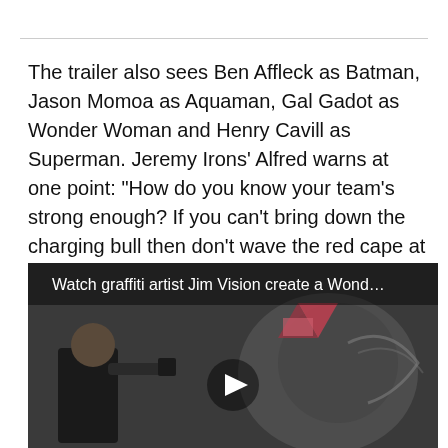The trailer also sees Ben Affleck as Batman, Jason Momoa as Aquaman, Gal Gadot as Wonder Woman and Henry Cavill as Superman. Jeremy Irons' Alfred warns at one point: “How do you know your team’s strong enough? If you can’t bring down the charging bull then don’t wave the red cape at it.” Watch the Justice League trailer above now.
[Figure (screenshot): Video thumbnail showing a man painting a graffiti mural with a Wonder Woman-inspired design. Text overlay reads: Watch graffiti artist Jim Vision create a Wond... A play button is visible in the center.]